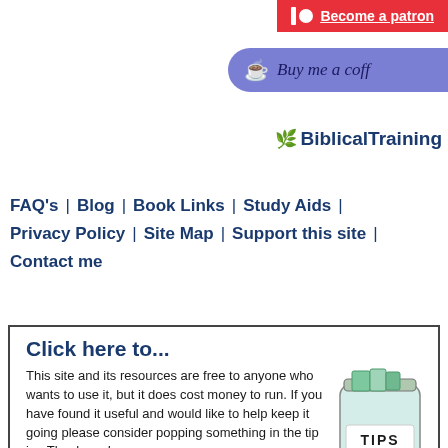[Figure (logo): Patreon button - red background with circle and bar icon, 'Become a patron' text]
[Figure (logo): Buy me a coffee button - purple/blue rounded button with coffee cup icon]
[Figure (logo): BiblicalTraining logo with tree emoji and bold dark blue text]
FAQ's  |  Blog  |  Book Links  |  Study Aids  |  Privacy Policy  |  Site Map  |  Support this site  |  Contact me
[Figure (photo): Glass jar labeled TIPS with 'Thank you ♥' and coins/money inside]
Click here to...
This site and its resources are free to anyone who wants to use it, but it does cost money to run. If you have found it useful and would like to help keep it going please consider popping something in the tip jar. Thank you!